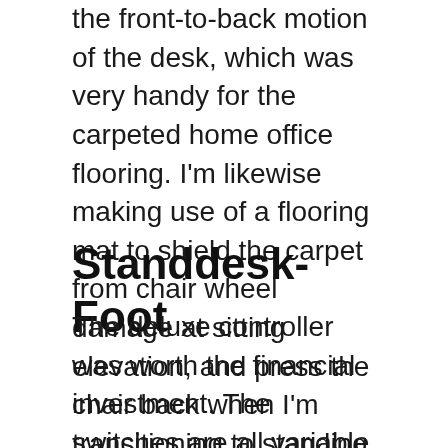the front-to-back motion of the desk, which was very handy for the carpeted home office flooring. I'm likewise making use of a flooring mat to shield the carpet from chair wheel damage at sitting elevation, and press the chair back when I'm transitioning to standing height.
Standdesk-Foot
The deluxe controller was worth the financial investment. The switches are all variable stress set, meaning the backwards and forwards arrows will adjust the elevation by 1/10th of an inch with a single press, or continually adjust the height by about 0.7 inches per second if you hold the button for 2 seconds. The memory buttons are similar